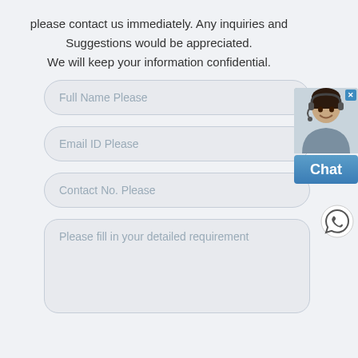please contact us immediately. Any inquiries and Suggestions would be appreciated. We will keep your information confidential.
[Figure (illustration): Customer service chat widget with photo of a woman wearing headset and a blue Chat button]
Full Name Please
Email ID Please
Contact No. Please
Please fill in your detailed requirement